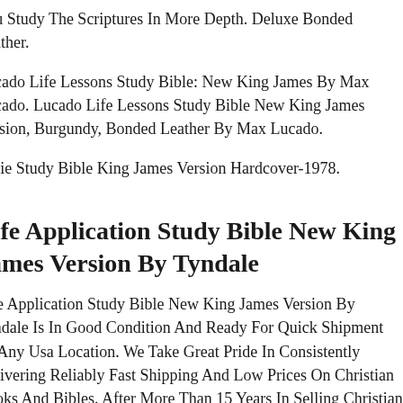You Study The Scriptures In More Depth. Deluxe Bonded Leather.
Lucado Life Lessons Study Bible: New King James By Max Lucado. Lucado Life Lessons Study Bible New King James Version, Burgundy, Bonded Leather By Max Lucado.
Ryrie Study Bible King James Version Hardcover-1978.
Life Application Study Bible New King James Version By Tyndale
Life Application Study Bible New King James Version By Tyndale Is In Good Condition And Ready For Quick Shipment To Any Usa Location. We Take Great Pride In Consistently Delivering Reliably Fast Shipping And Low Prices On Christian Books And Bibles. After More Than 15 Years In Selling Christian Literature We Understand The Value Of Affordable Prices And Fast Shipping To Your Door. We Are Humbled By The Privilege To Do So And We Take Great Pride In Our Responsibility To Our Fellow Christian Community.
Orthodox Study Bible: New King James Verison, Black, Bonded Leather